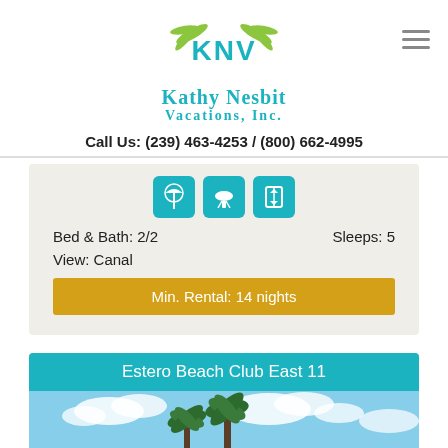[Figure (logo): Kathy Nesbit Vacations, Inc. logo with teal KNV initials and palm leaf design]
Call Us: (239) 463-4253 / (800) 662-4995
[Figure (infographic): Three teal icons: beach umbrella, BBQ grill, and elevator/elevator icon]
Bed & Bath: 2/2
Sleeps: 5
View: Canal
Min. Rental: 14 nights
Estero Beach Club East 11
[Figure (photo): Outdoor swimming pool with palm trees and ocean/bay view in background under partly cloudy sky]